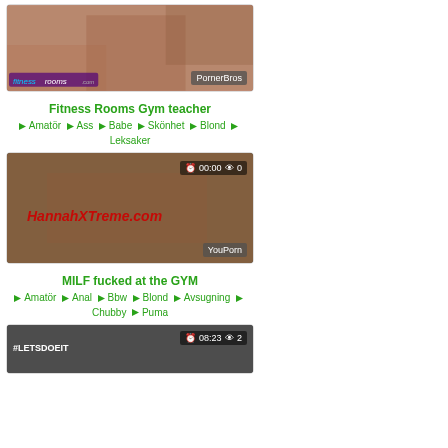[Figure (photo): Thumbnail image for Fitness Rooms Gym teacher video with PornerBros badge]
Fitness Rooms Gym teacher
Amatör  Ass  Babe  Skönhet  Blond  Leksaker
[Figure (photo): Thumbnail image for MILF fucked at the GYM video with 00:00 duration and 0 views, YouPorn badge, HannahXTreme.com watermark]
MILF fucked at the GYM
Amatör  Anal  Bbw  Blond  Avsugning  Chubby  Puma
[Figure (photo): Partial thumbnail for a third video with 08:23 duration and 2 views, #LETSDOEIT watermark]